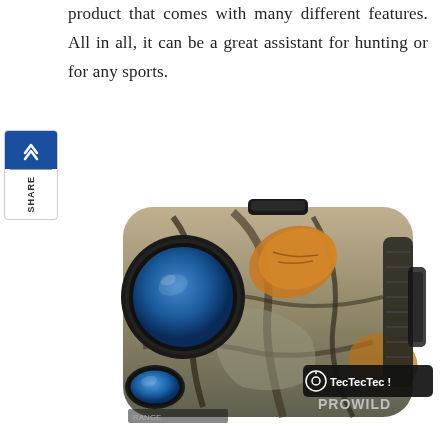product that comes with many different features. All in all, it can be a great assistant for hunting or for any sports.
[Figure (photo): TecTecTec PROWILD hunting laser rangefinder in camouflage pattern, shown at an angle with blue lens visible on the left side]